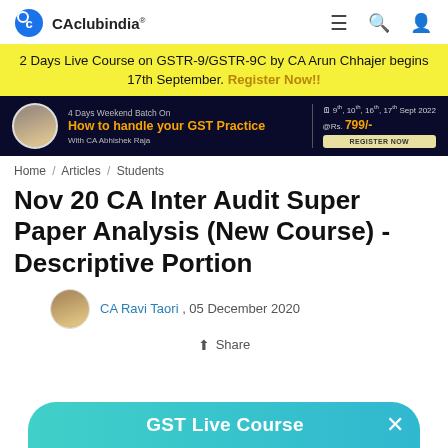CAclubindia®
2 Days Live Course on GSTR-9/GSTR-9C by CA Arun Chhajer begins 17th September. Register Now!!
[Figure (infographic): Dark blue banner advertising '4 Days Weekend Batch On How to handle your GST Practice With CA Abhishek Raja' on 9th, 10th, 16th, 17th Sept 2022 @Rs. 799/- with REGISTER NOW button]
Home / Articles / Students
Nov 20 CA Inter Audit Super Paper Analysis (New Course) - Descriptive Portion
CA Ravi Taori , 05 December 2020
Share
GST Live Course